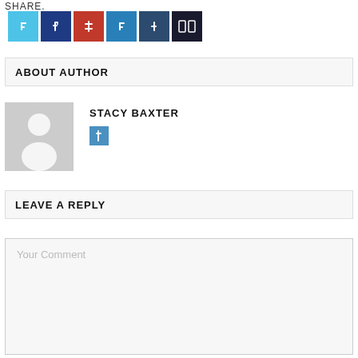SHARE.
[Figure (other): Row of six social share icon buttons: Twitter (light blue), Facebook (dark blue), Pinterest (red), LinkedIn (medium blue), Tumblr (dark slate blue), Share (near black with double square icon)]
ABOUT AUTHOR
[Figure (other): Generic grey avatar placeholder showing a silhouette of a person]
STACY BAXTER
[Figure (other): Small blue social media icon button]
LEAVE A REPLY
Your Comment